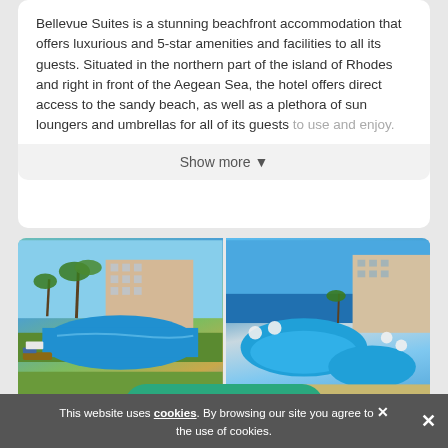Bellevue Suites is a stunning beachfront accommodation that offers luxurious and 5-star amenities and facilities to all its guests. Situated in the northern part of the island of Rhodes and right in front of the Aegean Sea, the hotel offers direct access to the sandy beach, as well as a plethora of sun loungers and umbrellas for all of its guests to use and enjoy.
Show more ▾
[Figure (photo): Hotel pool area with palm trees, sunbeds and blue pool water, hotel building in background]
[Figure (photo): Aerial view of hotel pool complex with sea in background, white umbrellas and sunbeds]
Atrium Platinum
Categories
This website uses cookies. By browsing our site you agree to the use of cookies.